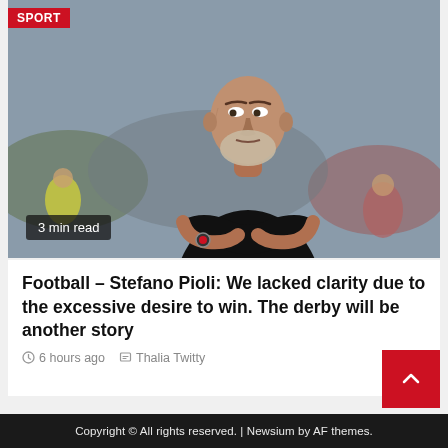[Figure (photo): A bald older man with white stubble beard, wearing a black t-shirt with arms crossed, standing on a football pitch sideline. A 'SPORT' badge overlays the top-left corner, and a '3 min read' badge overlays the bottom-left.]
Football – Stefano Pioli: We lacked clarity due to the excessive desire to win. The derby will be another story
6 hours ago  Thalia Twitty
Copyright © All rights reserved. | Newsium by AF themes.